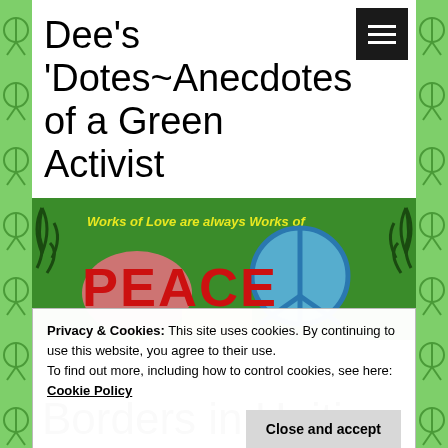Dee's 'Dotes~Anecdotes of a Green Activist
[Figure (illustration): Colorful artwork on green background reading 'Works of Love are always Works of PEACE' with peace symbols]
Privacy & Cookies: This site uses cookies. By continuing to use this website, you agree to their use.
To find out more, including how to control cookies, see here: Cookie Policy
Close and accept
Borders in Haiti